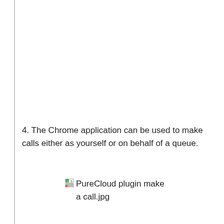4. The Chrome application can be used to make calls either as yourself or on behalf of a queue.
[Figure (screenshot): Broken image placeholder labeled 'PureCloud plugin make a call.jpg']